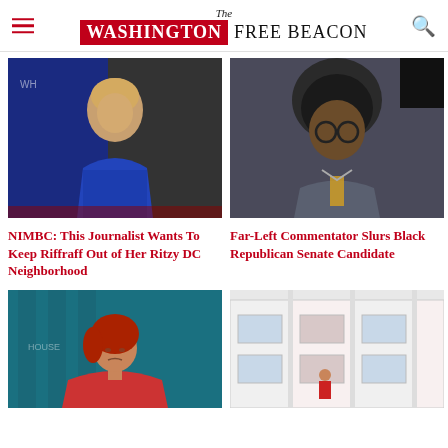The Washington Free Beacon
[Figure (photo): Woman in blue dress at red carpet event]
NIMBC: This Journalist Wants To Keep Riffraff Out of Her Ritzy DC Neighborhood
[Figure (photo): Man with large afro and glasses in suit]
Far-Left Commentator Slurs Black Republican Senate Candidate
[Figure (photo): Red-haired woman in pink top at press briefing]
[Figure (photo): White modular housing units with person in red jacket]